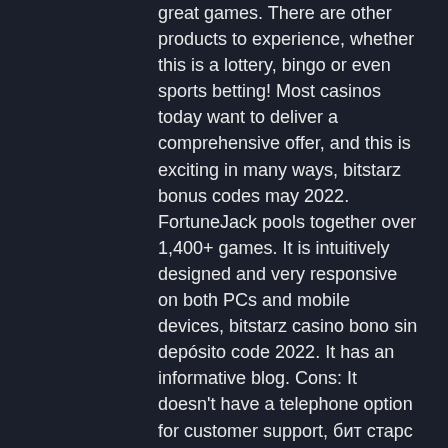great games. There are other products to experience, whether this is a lottery, bingo or even sports betting! Most casinos today want to deliver a comprehensive offer, and this is exciting in many ways, bitstarz bonus codes may 2022. FortuneJack pools together over 1,400+ games. It is intuitively designed and very responsive on both PCs and mobile devices, bitstarz casino bono sin depósito code 2022. It has an informative blog. Cons: It doesn't have a telephone option for customer support, бит старс регистрация. How to claim the No Deposit Bonus: Join 999Dice crypto casino, click Free Bitcoin > Claim Bitcoin Now , solve the anti-bot test and you receive in your account 0, bitstarz vs stake. Your next claim can be made in 2. Some popular bitcoin slots with free spin features include wolf-run, Cleopatra, 50 Dragon, Egypt Sky, Dolphin Treasure, Sun and Moon. Most BTC gambling sites reward